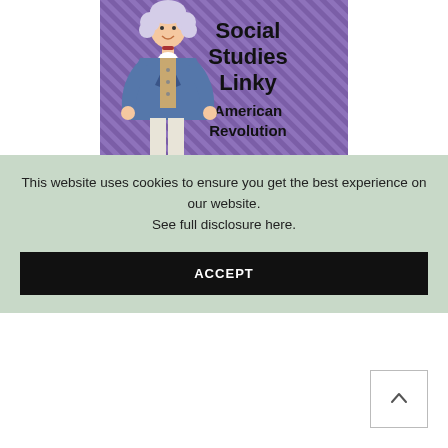[Figure (illustration): Cartoon illustration of a colonial-era figure (resembling a Founding Father) in a blue coat with white shirt frill, set against a purple diagonal striped background. Text overlay reads 'Social Studies Linky American Revolution']
This website uses cookies to ensure you get the best experience on our website.
See full disclosure here.
ACCEPT